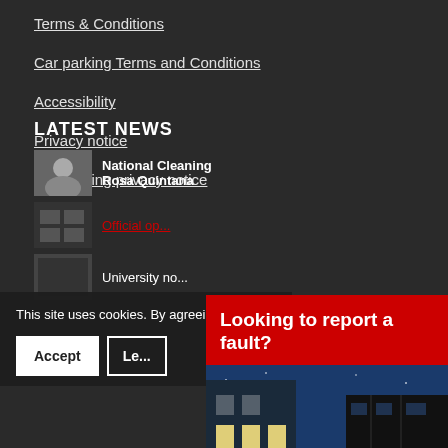Terms & Conditions
Car parking Terms and Conditions
Accessibility
Privacy notice
Car parking privacy notice
LATEST NEWS
National Cleaning
Rosa Quintana
This site uses cookies. By agreeing
Official op...
University no...
Looking to report a fault?